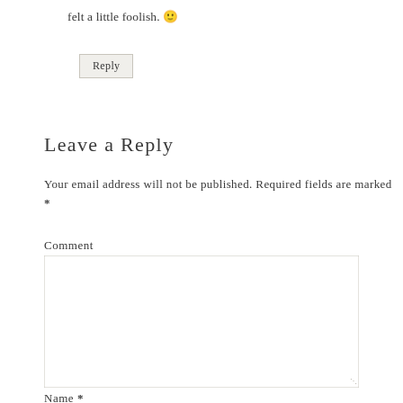felt a little foolish. 🙂
Reply
Leave a Reply
Your email address will not be published. Required fields are marked *
Comment
Name *